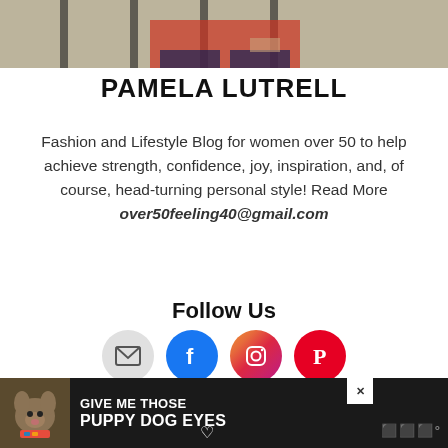[Figure (photo): Top portion of a person wearing a red/orange top, partially cropped at the top of the page]
PAMELA LUTRELL
Fashion and Lifestyle Blog for women over 50 to help achieve strength, confidence, joy, inspiration, and, of course, head-turning personal style! Read More over50feeling40@gmail.com
Follow Us
[Figure (infographic): Four social media icon circles: email (grey), Facebook (blue), Instagram (gradient pink/purple), Pinterest (red)]
[Figure (photo): Advertisement banner at bottom: dark background with dog image and text 'GIVE ME THOSE PUPPY DOG EYES' with a heart icon and close button]